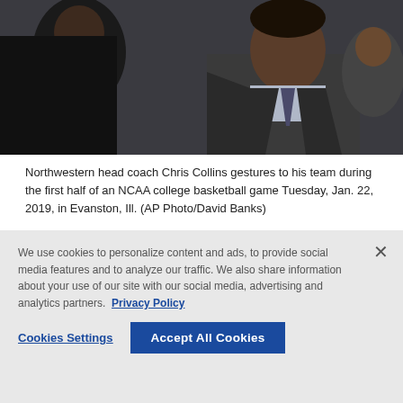[Figure (photo): Northwestern head coach Chris Collins and players on the sideline during an NCAA college basketball game. Close-up of two men in dark suits/jackets.]
Northwestern head coach Chris Collins gestures to his team during the first half of an NCAA college basketball game Tuesday, Jan. 22, 2019, in Evanston, Ill. (AP Photo/David Banks)
We use cookies to personalize content and ads, to provide social media features and to analyze our traffic. We also share information about your use of our site with our social media, advertising and analytics partners. Privacy Policy